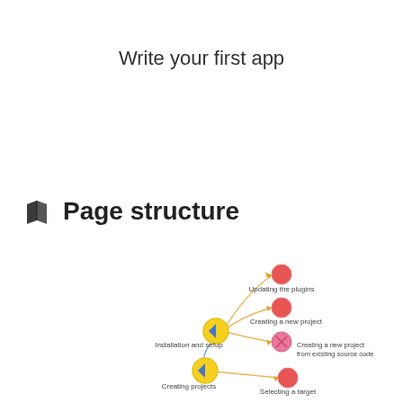Write your first app
Page structure
[Figure (network-graph): A page structure network diagram showing nodes: 'Installation and setup' (yellow), 'Creating projects' (yellow), connected to child nodes 'Updating the plugins' (red), 'Creating a new project' (red), 'Creating a new project from existing source code' (red/pink), 'Selecting a target' (red). Nodes are connected by orange curved lines with arrow indicators. The diagram is partially visible, cropped at the bottom.]